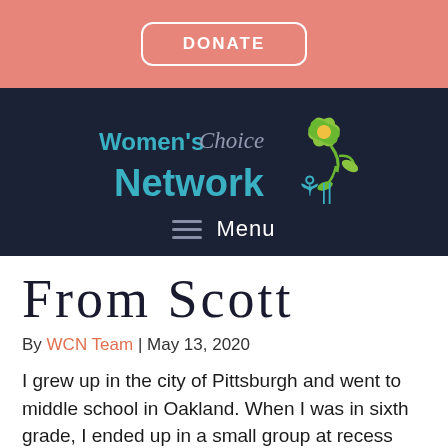DONATE
[Figure (logo): Women's Choice Network logo with teal and green text and a flower graphic on a dark navy background, with a Menu navigation item below]
From Scott
By WCN Team | May 13, 2020
I grew up in the city of Pittsburgh and went to middle school in Oakland. When I was in sixth grade, I ended up in a small group at recess